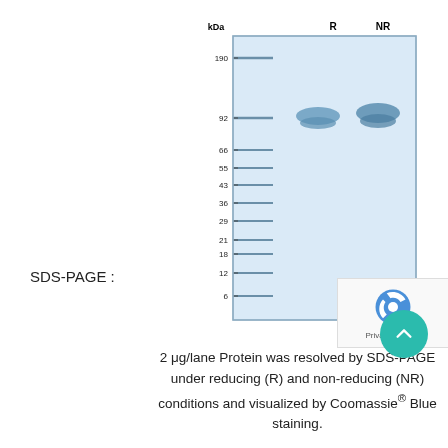SDS-PAGE :
[Figure (other): SDS-PAGE gel image showing protein bands under reducing (R) and non-reducing (NR) conditions. Molecular weight ladder on left with bands at 190, 92, 66, 55, 43, 36, 29, 21, 18, 12, 6 kDa. Single band visible near ~92 kDa in both R and NR lanes.]
2 μg/lane Protein was resolved by SDS-PAGE under reducing (R) and non-reducing (NR) conditions and visualized by Coomassie® Blue staining.